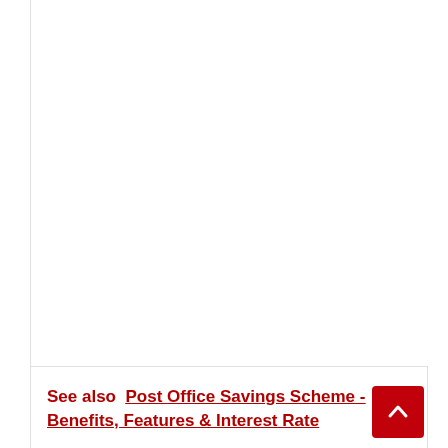See also  Post Office Savings Scheme - Benefits, Features & Interest Rate